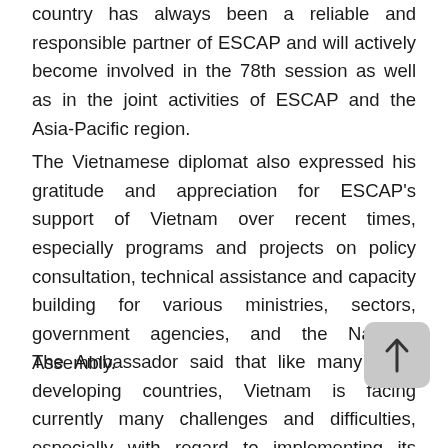country has always been a reliable and responsible partner of ESCAP and will actively become involved in the 78th session as well as in the joint activities of ESCAP and the Asia-Pacific region.
The Vietnamese diplomat also expressed his gratitude and appreciation for ESCAP's support of Vietnam over recent times, especially programs and projects on policy consultation, technical assistance and capacity building for various ministries, sectors, government agencies, and the National Assembly.
The Ambassador said that like many other developing countries, Vietnam is facing currently many challenges and difficulties, especially with regard to implementing its commitment to reduce net